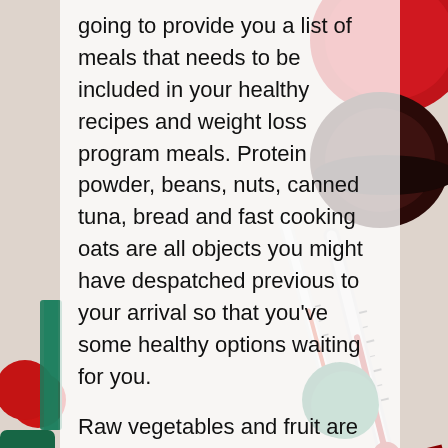[Figure (photo): Background photo showing medical capsule pills (red, dark red/maroon, green) and a glass thermometer showing approximately 35.6 degrees, on a light surface]
going to provide you a list of meals that needs to be included in your healthy recipes and weight loss program meals. Protein powder, beans, nuts, canned tuna, bread and fast cooking oats are all objects you might have despatched previous to your arrival so that you've some healthy options waiting for you.
Raw vegetables and fruit are one of our most necessary foods. When we eat fats, they burn contained in the body and act as fuel to maintain